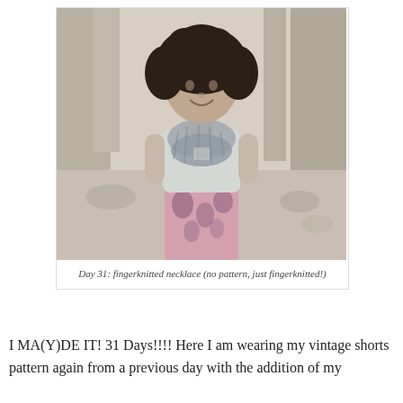[Figure (photo): A young woman with curly dark hair smiling outdoors, wearing a light gray t-shirt, a gray chunky knit infinity scarf/necklace, and a pink and purple paisley patterned skirt. She is standing in a wooded/rocky outdoor area with trees and rocks in the background.]
Day 31: fingerknitted necklace (no pattern, just fingerknitted!)
I MA(Y)DE IT! 31 Days!!!! Here I am wearing my vintage shorts pattern again from a previous day with the addition of my